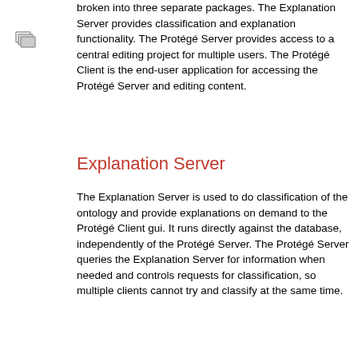[Figure (illustration): Small icon showing stacked document/folder shapes in gray]
broken into three separate packages. The Explanation Server provides classification and explanation functionality. The Protégé Server provides access to a central editing project for multiple users. The Protégé Client is the end-user application for accessing the Protégé Server and editing content.
Explanation Server
The Explanation Server is used to do classification of the ontology and provide explanations on demand to the Protégé Client gui. It runs directly against the database, independently of the Protégé Server. The Protégé Server queries the Explanation Server for information when needed and controls requests for classification, so multiple clients cannot try and classify at the same time.